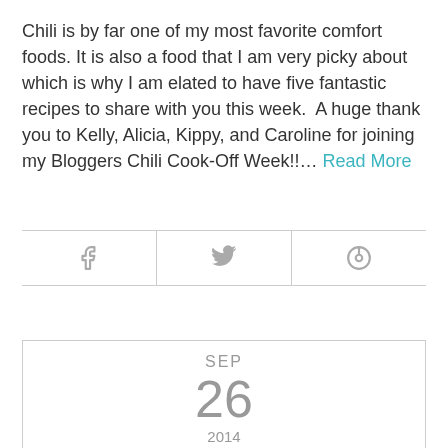Chili is by far one of my most favorite comfort foods. It is also a food that I am very picky about which is why I am elated to have five fantastic recipes to share with you this week.  A huge thank you to Kelly, Alicia, Kippy, and Caroline for joining my Bloggers Chili Cook-Off Week!!… Read More
[Figure (other): Social sharing bar with Facebook, Twitter, and Pinterest icons separated by vertical dividers]
SEP
26
2014